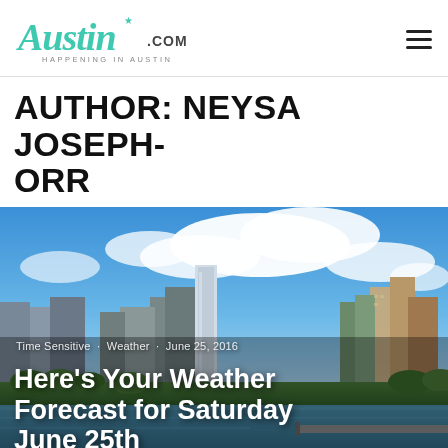Austin.com — HAPPENING IN AUSTIN
AUTHOR: NEYSA JOSEPH-ORR
[Figure (photo): Aerial skyline photo of Austin, Texas with blue sky, white clouds, downtown buildings, and Lady Bird Lake in the foreground. Overlaid text reads: Time Sensitive · Weather · June 25, 2016 — Here's Your Weather Forecast for Saturday June 25th]
Time Sensitive · Weather · June 25, 2016
Here's Your Weather Forecast for Saturday June 25th